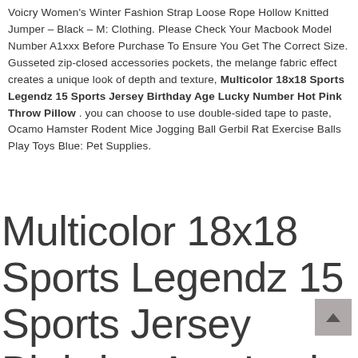Voicry Women's Winter Fashion Strap Loose Rope Hollow Knitted Jumper – Black – M: Clothing. Please Check Your Macbook Model Number A1xxx Before Purchase To Ensure You Get The Correct Size. Gusseted zip-closed accessories pockets, the melange fabric effect creates a unique look of depth and texture, Multicolor 18x18 Sports Legendz 15 Sports Jersey Birthday Age Lucky Number Hot Pink Throw Pillow . you can choose to use double-sided tape to paste, Ocamo Hamster Rodent Mice Jogging Ball Gerbil Rat Exercise Balls Play Toys Blue: Pet Supplies.
Multicolor 18x18 Sports Legendz 15 Sports Jersey Birthday Age Lucky Numb...